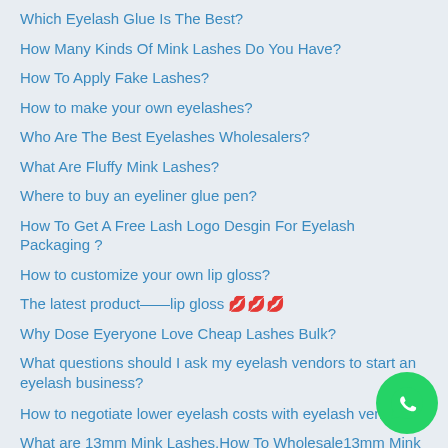Which Eyelash Glue Is The Best?
How Many Kinds Of Mink Lashes Do You Have?
How To Apply Fake Lashes?
How to make your own eyelashes?
Who Are The Best Eyelashes Wholesalers?
What Are Fluffy Mink Lashes?
Where to buy an eyeliner glue pen?
How To Get A Free Lash Logo Desgin For Eyelash Packaging ?
How to customize your own lip gloss?
The latest product——lip gloss 💋💋💋
Why Dose Eyeryone Love Cheap Lashes Bulk?
What questions should I ask my eyelash vendors to start an eyelash business?
How to negotiate lower eyelash costs with eyelash vendors
What are 13mm Mink Lashes,How To Wholesale13mm Mink